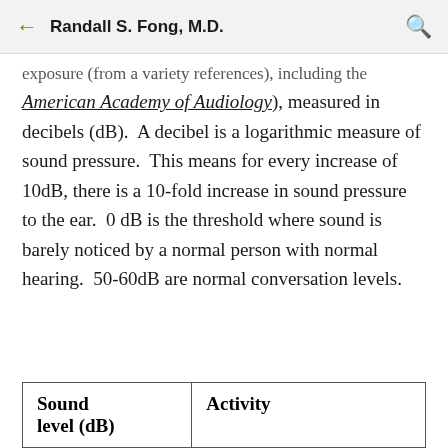Randall S. Fong, M.D.
exposure (from a variety references), including the American Academy of Audiology), measured in decibels (dB).  A decibel is a logarithmic measure of sound pressure.  This means for every increase of 10dB, there is a 10-fold increase in sound pressure to the ear.  0 dB is the threshold where sound is barely noticed by a normal person with normal hearing.  50-60dB are normal conversation levels.
| Sound level (dB) | Activity |
| --- | --- |